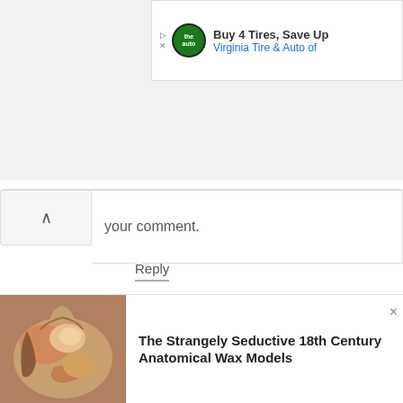[Figure (screenshot): Advertisement banner: 'Buy 4 Tires, Save Up Virginia Tire & Auto of' with circular logo]
your comment.
Reply
Anonymous
February 25, 2013 at 10:49 AM
Reply  Delete
Great place for a wanted killer to hide!
[Figure (photo): Anatomical wax model image — 18th century figure]
The Strangely Seductive 18th Century Anatomical Wax Models